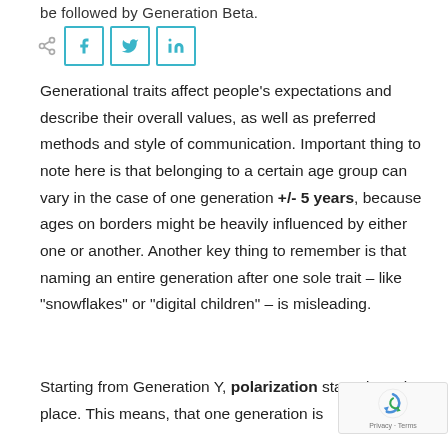be followed by Generation Beta.
[Figure (other): Social share bar with share icon, Facebook, Twitter, and LinkedIn buttons]
Generational traits affect people’s expectations and describe their overall values, as well as preferred methods and style of communication. Important thing to note here is that belonging to a certain age group can vary in the case of one generation +/- 5 years, because ages on borders might be heavily influenced by either one or another. Another key thing to remember is that naming an entire generation after one sole trait – like “snowflakes” or “digital children” – is misleading.
Starting from Generation Y, polarization started to take place. This means, that one generation is
[Figure (logo): Google reCAPTCHA badge in bottom right corner]